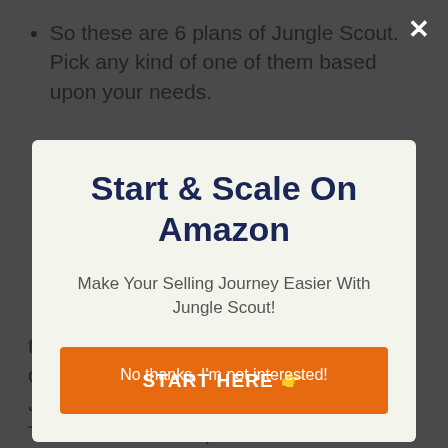So these are 6 plans of Jungle Scout. Pick any kind of one of them based upon your needs.
Start & Scale On Amazon
Make Your Selling Journey Easier With Jungle Scout!
START HERE 👉
No thanks, I'm not interested!
to compare Jungle Scout to other devices. Afterwards, I have begun with Jungle Scout and also never looked back. The most effective part